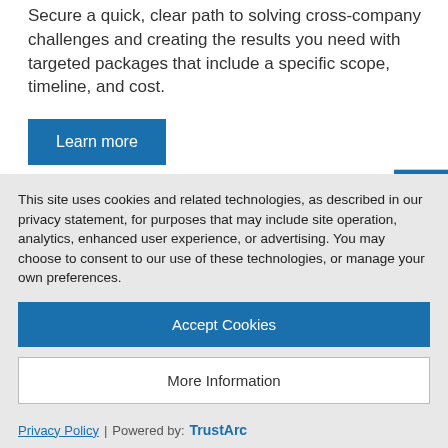Secure a quick, clear path to solving cross-company challenges and creating the results you need with targeted packages that include a specific scope, timeline, and cost.
Learn more
Advanced
SAP Professional S...
This site uses cookies and related technologies, as described in our privacy statement, for purposes that may include site operation, analytics, enhanced user experience, or advertising. You may choose to consent to our use of these technologies, or manage your own preferences.
Accept Cookies
More Information
Privacy Policy | Powered by: TrustArc